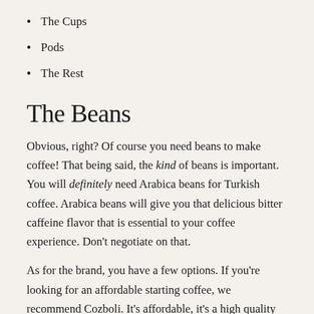The Cups
Pods
The Rest
The Beans
Obvious, right? Of course you need beans to make coffee! That being said, the kind of beans is important. You will definitely need Arabica beans for Turkish coffee. Arabica beans will give you that delicious bitter caffeine flavor that is essential to your coffee experience. Don't negotiate on that.
As for the brand, you have a few options. If you're looking for an affordable starting coffee, we recommend Cozboli. It's affordable, it's a high quality grade, and it